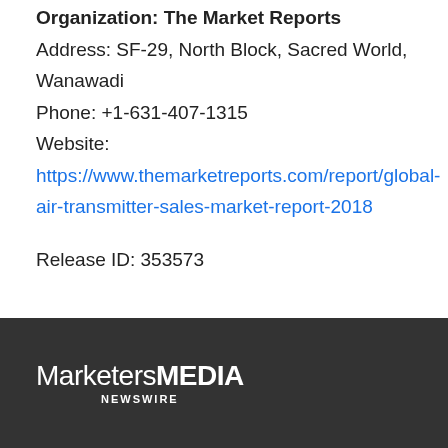Organization: The Market Reports
Address: SF-29, North Block, Sacred World, Wanawadi
Phone: +1-631-407-1315
Website: https://www.themarketreports.com/report/global-air-transmitter-sales-market-report-2018
Release ID: 353573
MarketersMEDIA NEWSWIRE